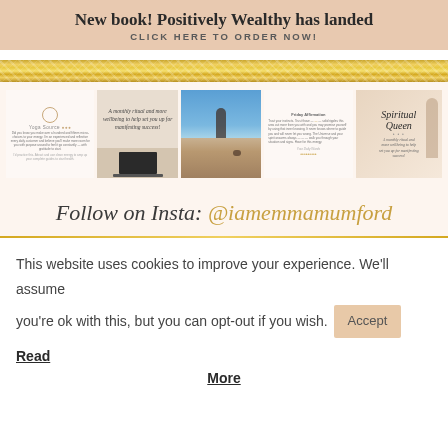New book! Positively Wealthy has landed
CLICK HERE TO ORDER NOW!
[Figure (photo): Gold glitter decorative strip]
[Figure (photo): Instagram grid showing 5 posts: a text post about energy/coaching, a text post with script about monthly rituals and mindset, a beach photo with a person and dog at the water's edge, a text post about training/intuition, and a Spiritual Queen branded graphic with a woman posing]
Follow on Insta: @iamemmamumford
This website uses cookies to improve your experience. We'll assume you're ok with this, but you can opt-out if you wish. Accept Read More